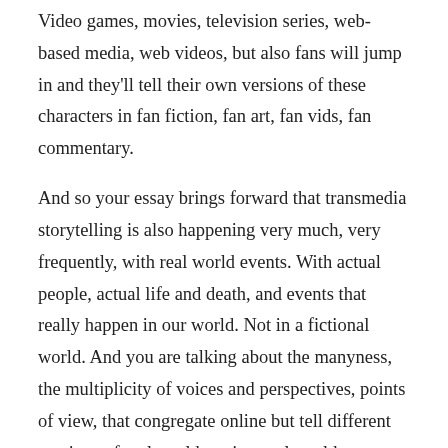Video games, movies, television series, web-based media, web videos, but also fans will jump in and they'll tell their own versions of these characters in fan fiction, fan art, fan vids, fan commentary.
And so your essay brings forward that transmedia storytelling is also happening very much, very frequently, with real world events. With actual people, actual life and death, and events that really happen in our world. Not in a fictional world. And you are talking about the manyness, the multiplicity of voices and perspectives, points of view, that congregate online but tell different versions of real world stories, real world narratives.
Which is such a really important insight, I think, of your